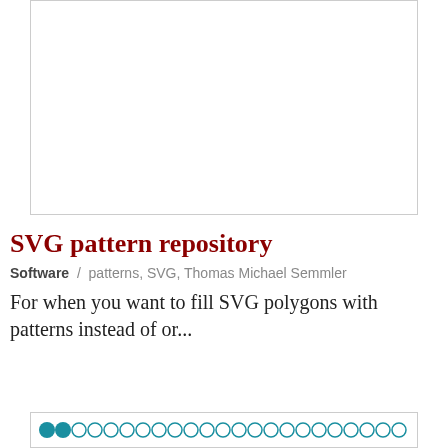[Figure (other): White rectangular image placeholder with light gray border]
SVG pattern repository
Software / patterns, SVG, Thomas Michael Semmler
For when you want to fill SVG polygons with patterns instead of or...
[Figure (other): Pagination dots row: two filled teal circles followed by many empty teal circle outlines]